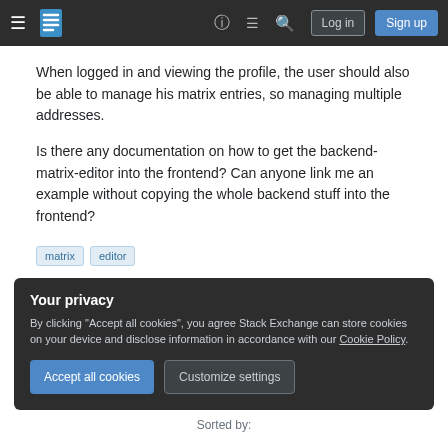Stack Exchange navigation bar with hamburger menu, logo, help, chat, search icons, Log in and Sign up buttons
When logged in and viewing the profile, the user should also be able to manage his matrix entries, so managing multiple addresses.
Is there any documentation on how to get the backend-matrix-editor into the frontend? Can anyone link me an example without copying the whole backend stuff into the frontend?
matrix
editor
Your privacy
By clicking "Accept all cookies", you agree Stack Exchange can store cookies on your device and disclose information in accordance with our Cookie Policy.
Sorted by: